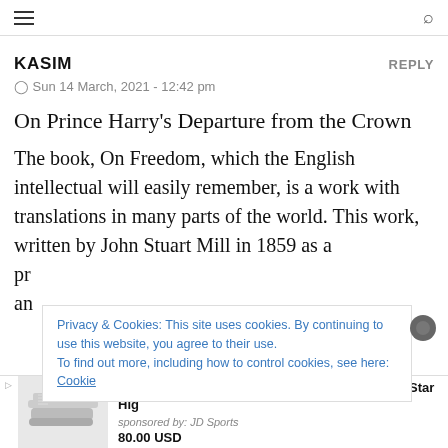☰ [search icon]
KASIM    REPLY
⊙ Sun 14 March, 2021 - 12:42 pm
On Prince Harry's Departure from the Crown
The book, On Freedom, which the English intellectual will easily remember, is a work with translations in many parts of the world. This work, written by John Stuart Mill in 1859 as a pr... an...
Privacy & Cookies: This site uses cookies. By continuing to use this website, you agree to their use. To find out more, including how to control cookies, see here: Cookie
[Figure (photo): Advertisement showing Converse Women's Converse Chuck Taylor All Star High top shoe in light grey, sponsored by JD Sports, priced at 80.00 USD]